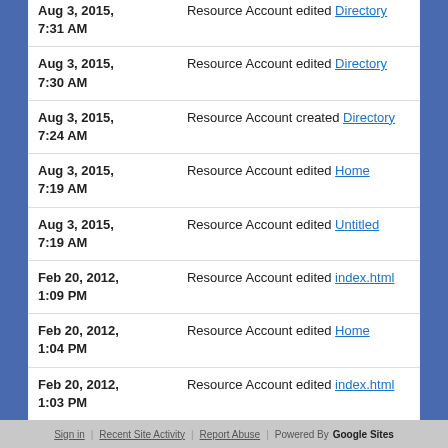| Date | Action |
| --- | --- |
| Aug 3, 2015, 7:31 AM | Resource Account edited Directory |
| Aug 3, 2015, 7:30 AM | Resource Account edited Directory |
| Aug 3, 2015, 7:24 AM | Resource Account created Directory |
| Aug 3, 2015, 7:19 AM | Resource Account edited Home |
| Aug 3, 2015, 7:19 AM | Resource Account edited Untitled |
| Feb 20, 2012, 1:09 PM | Resource Account edited index.html |
| Feb 20, 2012, 1:04 PM | Resource Account edited Home |
| Feb 20, 2012, 1:03 PM | Resource Account edited index.html |
older | newer
Sign in | Recent Site Activity | Report Abuse | Powered By Google Sites